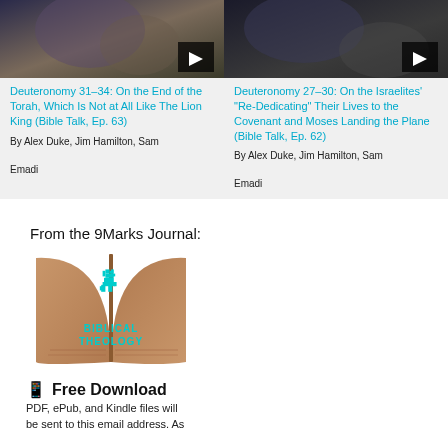[Figure (screenshot): Video thumbnail for Deuteronomy 31-34 Bible Talk episode with play button]
[Figure (screenshot): Video thumbnail for Deuteronomy 27-30 Bible Talk episode with play button]
Deuteronomy 31–34: On the End of the Torah, Which Is Not at All Like The Lion King (Bible Talk, Ep. 63)
Deuteronomy 27–30: On the Israelites' "Re-Dedicating" Their Lives to the Covenant and Moses Landing the Plane (Bible Talk, Ep. 62)
By Alex Duke, Jim Hamilton, Sam Emadi
By Alex Duke, Jim Hamilton, Sam Emadi
From the 9Marks Journal:
[Figure (photo): Open book with teal wolf logo and text BIBLICAL THEOLOGY on brown pages]
Free Download
PDF, ePub, and Kindle files will be sent to this email address. As